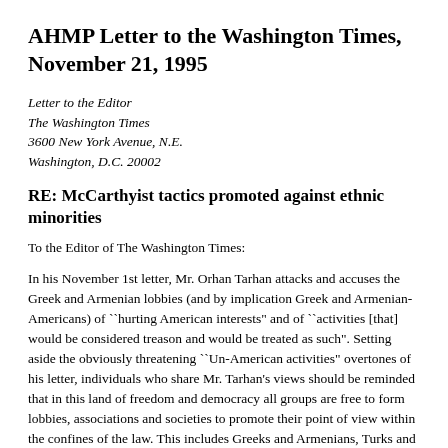AHMP Letter to the Washington Times, November 21, 1995
Letter to the Editor
The Washington Times
3600 New York Avenue, N.E.
Washington, D.C. 20002
RE: McCarthyist tactics promoted against ethnic minorities
To the Editor of The Washington Times:
In his November 1st letter, Mr. Orhan Tarhan attacks and accuses the Greek and Armenian lobbies (and by implication Greek and Armenian-Americans) of ``hurting American interests" and of ``activities [that] would be considered treason and would be treated as such". Setting aside the obviously threatening ``Un-American activities" overtones of his letter, individuals who share Mr. Tarhan's views should be reminded that in this land of freedom and democracy all groups are free to form lobbies, associations and societies to promote their point of view within the confines of the law. This includes Greeks and Armenians, Turks and Israelis, the